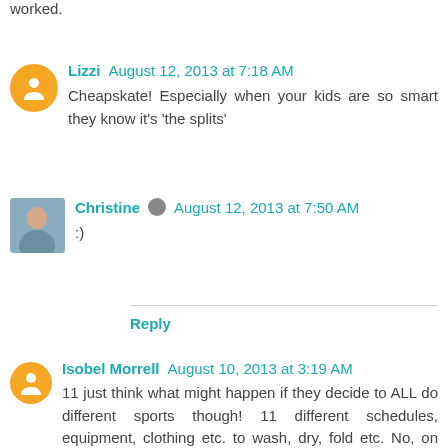worked.
Lizzi August 12, 2013 at 7:18 AM
Cheapskate! Especially when your kids are so smart they know it's 'the splits'
Christine August 12, 2013 at 7:50 AM
:)
Reply
Isobel Morrell August 10, 2013 at 3:19 AM
11 just think what might happen if they decide to ALL do different sports though! 11 different schedules, equipment, clothing etc. to wash, dry, fold etc. No, on the whole, think - despite the stress already - all doing ONE may be a better option!